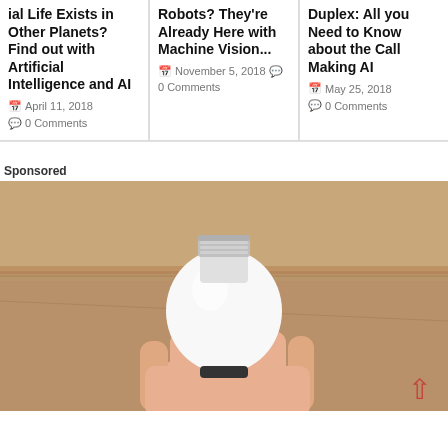ial Life Exists in Other Planets? Find out with Artificial Intelligence and AI
April 11, 2018 · 0 Comments
Robots? They're Already Here with Machine Vision...
November 5, 2018 · 0 Comments
Duplex: All you Need to Know about the Call Making AI
May 25, 2018 · 0 Comments
Sponsored
[Figure (photo): A hand holding a white smart LED light bulb against a wooden background]